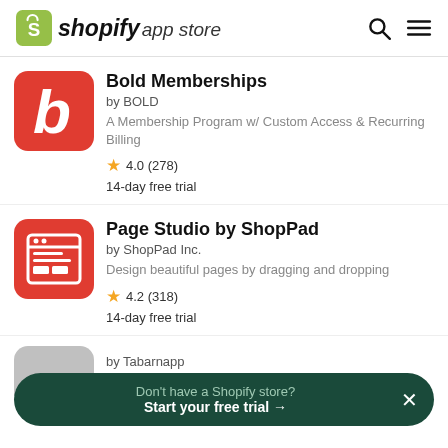shopify app store
Bold Memberships
by BOLD
A Membership Program w/ Custom Access & Recurring Billing
4.0 (278)
14-day free trial
Page Studio by ShopPad
by ShopPad Inc.
Design beautiful pages by dragging and dropping
4.2 (318)
14-day free trial
by Tabarnapp
Don't have a Shopify store? Start your free trial →